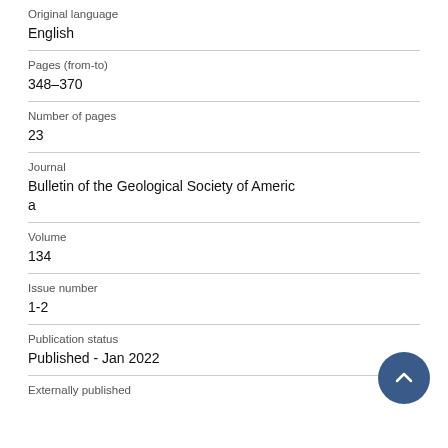Original language
English
Pages (from-to)
348–370
Number of pages
23
Journal
Bulletin of the Geological Society of America
Volume
134
Issue number
1-2
Publication status
Published - Jan 2022
Externally published